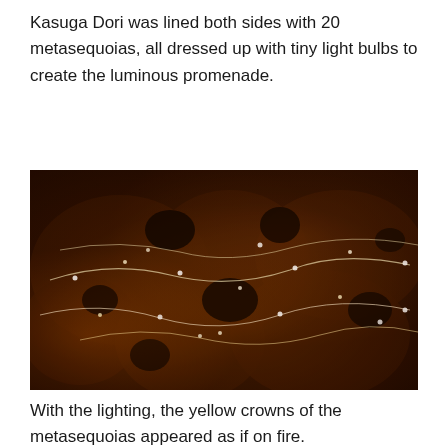Kasuga Dori was lined both sides with 20 metasequoias, all dressed up with tiny light bulbs to create the luminous promenade.
[Figure (photo): Aerial night photograph of metasequoia trees illuminated with tiny light bulbs, showing glowing yellowish-orange crowns against a dark background, with strands of lights tracing the branches creating a fire-like appearance.]
With the lighting, the yellow crowns of the metasequoias appeared as if on fire.